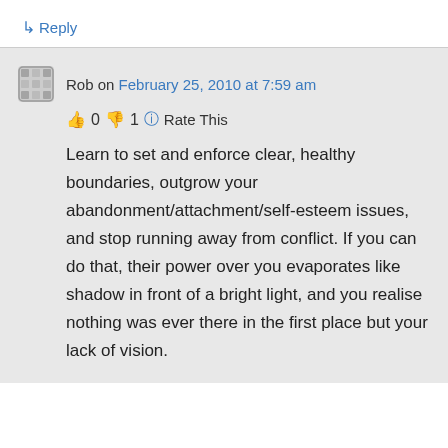↳ Reply
Rob on February 25, 2010 at 7:59 am
👍 0 👎 1 ℹ Rate This
Learn to set and enforce clear, healthy boundaries, outgrow your abandonment/attachment/self-esteem issues, and stop running away from conflict. If you can do that, their power over you evaporates like shadow in front of a bright light, and you realise nothing was ever there in the first place but your lack of vision.